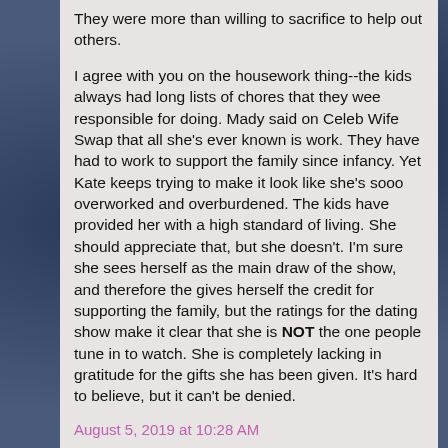They were more than willing to sacrifice to help out others.
I agree with you on the housework thing--the kids always had long lists of chores that they wee responsible for doing. Mady said on Celeb Wife Swap that all she's ever known is work. They have had to work to support the family since infancy. Yet Kate keeps trying to make it look like she's sooo overworked and overburdened. The kids have provided her with a high standard of living. She should appreciate that, but she doesn't. I'm sure she sees herself as the main draw of the show, and therefore the gives herself the credit for supporting the family, but the ratings for the dating show make it clear that she is NOT the one people tune in to watch. She is completely lacking in gratitude for the gifts she has been given. It's hard to believe, but it can't be denied.
August 5, 2019 at 10:28 AM
Formerly Duped said... 65